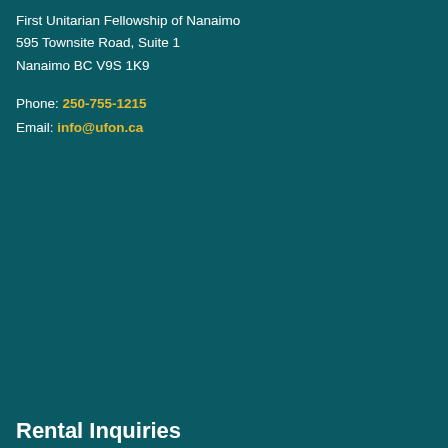First Unitarian Fellowship of Nanaimo
595 Townsite Road, Suite 1
Nanaimo BC V9S 1K9
Phone: 250-755-1215
Email: info@ufon.ca
Rental Inquiries